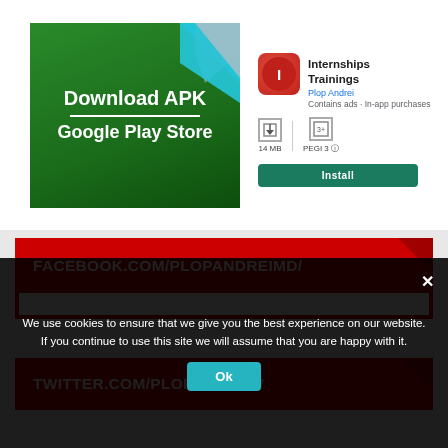[Figure (screenshot): Google Play Store app listing for Internships Trainings by Plop Andrei, with Download APK Google Play Store image on the left, showing app icon, title, developer, size 14 MB, PEGI 3, and Install button]
FACEBOOK.COM/PLOPANDREIMD/
TWITTER.COM/PLOPANDREW
We use cookies to ensure that we give you the best experience on our website. If you continue to use this site we will assume that you are happy with it.